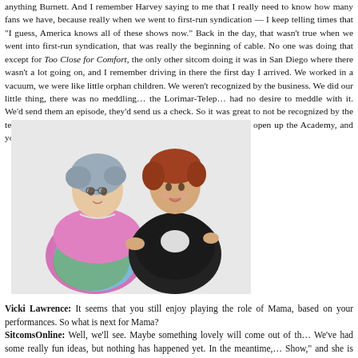anything Burnett. And I remember Harvey saying to me that I really need to know how many fans we have, because really when we went to first-run syndication — I keep telling times that "I guess, America knows all of these shows now." Back in the day, that wasn't true when we went into first-run syndication, that was really the beginning of cable. No one was doing that except for Too Close for Comfort, the only other sitcom doing it was in San Diego where there wasn't a lot going on, and I remember driving in there the first day I arrived. We worked in a vacuum, we were like little orphan children. We weren't recognized by the business. We did our little thing, there was no meddling… the Lorimar-Telepictures had no desire to meddle with it. We'd send them an episode, they'd send us a check. So it was great to not be recognized by the television community. I think it was many years later, when they had to open up the Academy, and you see what has happened. Nothing.
[Figure (photo): Two women posing together — one older woman with curly grey-blue hair wearing a floral outfit with a pink shawl (Mama character), and one younger woman with short auburn hair wearing a black jacket (Vicki Lawrence).]
Vicki Lawrence: It seems that you still enjoy playing the role of Mama, based on your performances. So what is next for Mama?
SitcomsOnline: Well, we'll see. Maybe something lovely will come out of this. We've had some really fun ideas, but nothing has happened yet. In the meantime, it's "The Vicki Show," and she is definitely half of that show. It has been really fun to push…